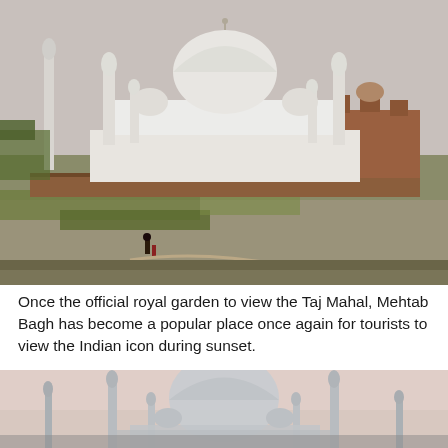[Figure (photo): Photograph of the Taj Mahal viewed from Mehtab Bagh across the Yamuna River, showing the white marble mausoleum with its central dome and four minarets, flanked by red sandstone buildings, with green and barren riverbanks in the foreground and two small figures visible near the water. Sky is pale pink/dusk light.]
Once the official royal garden to view the Taj Mahal, Mehtab Bagh has become a popular place once again for tourists to view the Indian icon during sunset.
[Figure (photo): Photograph of the Taj Mahal at sunset/dusk, viewed from Mehtab Bagh. The white marble dome and minarets are silhouetted against a soft pink and pale sky. The foreground shows the riverbank. The image is cropped to show only the upper portion of the monument.]